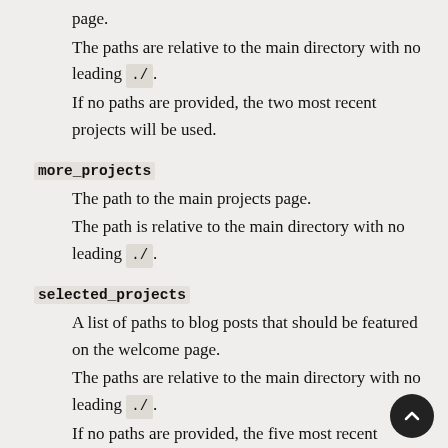page.
The paths are relative to the main directory with no leading ./
If no paths are provided, the two most recent projects will be used.
more_projects
The path to the main projects page.
The path is relative to the main directory with no leading ./
selected_projects
A list of paths to blog posts that should be featured on the welcome page.
The paths are relative to the main directory with no leading ./
If no paths are provided, the five most recent